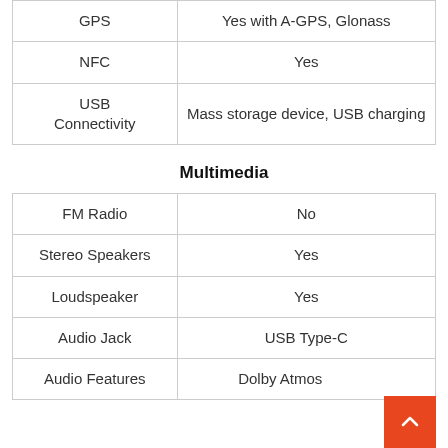| Feature | Value |
| --- | --- |
| GPS | Yes with A-GPS, Glonass |
| NFC | Yes |
| USB Connectivity | Mass storage device, USB charging |
Multimedia
| Feature | Value |
| --- | --- |
| FM Radio | No |
| Stereo Speakers | Yes |
| Loudspeaker | Yes |
| Audio Jack | USB Type-C |
| Audio Features | Dolby Atmos |